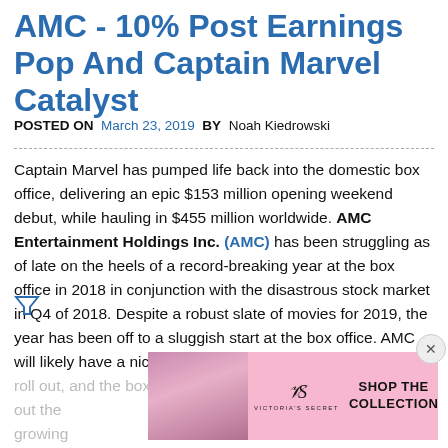AMC - 10% Post Earnings Pop And Captain Marvel Catalyst
POSTED ON March 23, 2019 BY Noah Kiedrowski
Captain Marvel has pumped life back into the domestic box office, delivering an epic $153 million opening weekend debut, while hauling in $455 million worldwide. AMC Entertainment Holdings Inc. (AMC) has been struggling as of late on the heels of a record-breaking year at the box office in 2018 in conjunction with the disastrous stock market in Q4 of 2018. Despite a robust slate of movies for 2019, the year has been off to a sluggish start at the box office. AMC will likely have a nice catalyst as the slate of 2019 movies roll out, and the box office numbers strengthen. To smooth out the rapid growing evolve a large segment of its business mix towards a subscription-based model. The maturity...
[Figure (photo): Victoria's Secret advertisement banner with model photo, VS logo, 'SHOP THE COLLECTION' text, and 'SHOP NOW' button]